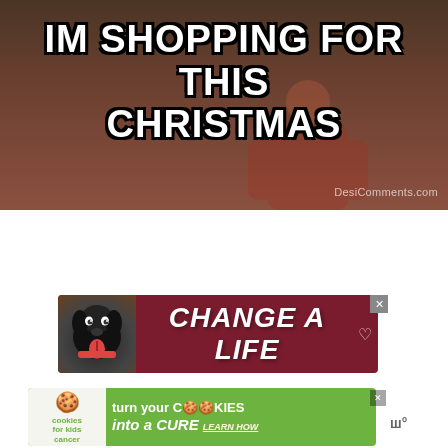[Figure (photo): Meme image showing a person in a red shirt with bold white text overlay reading 'IM SHOPPING FOR THIS CHRISTMAS' with DesiComments.com watermark]
[Figure (illustration): Advertisement banner with dark red background showing a black labrador dog and bold italic white text 'CHANGE A LIFE' with a heart icon]
[Figure (illustration): Advertisement banner with green background showing 'cookies for kids cancer' logo and text 'turn your COOKIES into a CURE LEARN HOW']